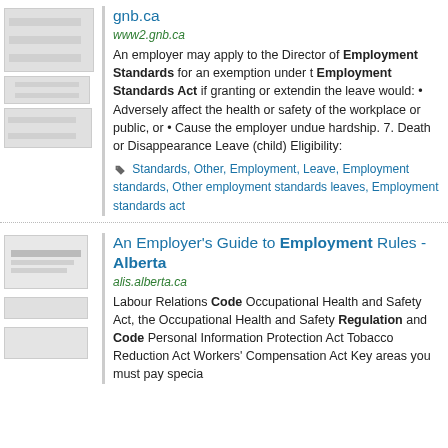gnb.ca
www2.gnb.ca
An employer may apply to the Director of Employment Standards for an exemption under the Employment Standards Act if granting or extending the leave would: • Adversely affect the health or safety of the workplace or public, or • Cause the employer undue hardship. 7. Death or Disappearance Leave (child) Eligibility:
Standards, Other, Employment, Leave, Employment standards, Other employment standards leaves, Employment standards act
An Employer's Guide to Employment Rules - Alberta
alis.alberta.ca
Labour Relations Code Occupational Health and Safety Act, the Occupational Health and Safety Regulation and Code Personal Information Protection Act Tobacco Reduction Act Workers' Compensation Act Key areas you must pay specia...